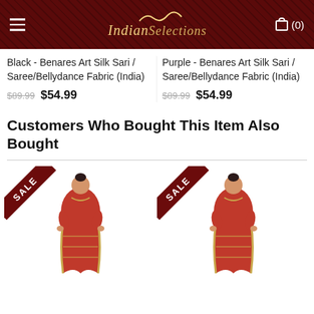Indian Selections
Black - Benares Art Silk Sari / Saree/Bellydance Fabric (India)
$89.99 $54.99
Purple - Benares Art Silk Sari / Saree/Bellydance Fabric (India)
$89.99 $54.99
Customers Who Bought This Item Also Bought
[Figure (photo): Red saree worn by a woman, with SALE badge in top left corner]
[Figure (photo): Red saree worn by a woman, with SALE badge in top left corner]